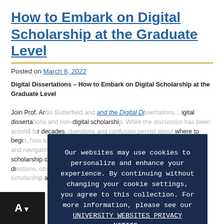How to Embark on Digital Scholarship at the Graduate Level
Posted on March 8, 2022
Digital Dissertations – How to Embark on Digital Scholarship at the Graduate Level. Join Prof. Ardis Butterfield and the Digital Dissertations... digital dissertations and non-digital scholarship. While the discussion has been around for decades, questions and confusion persist about where to begin, how to approach tech issues, getting your advisory committee and navigating institutional parameters, and learning how digital scholarship can boost skill sets and career options. Please bring questions, observations, and plans for a wish list of words supporting at UConn.
[Figure (screenshot): Cookie consent overlay on dark navy background with text: 'Our websites may use cookies to personalize and enhance your experience. By continuing without changing your cookie settings, you agree to this collection. For more information, please see our UNIVERSITY WEBSITES PRIVACY NOTICE.' with an OK button.]